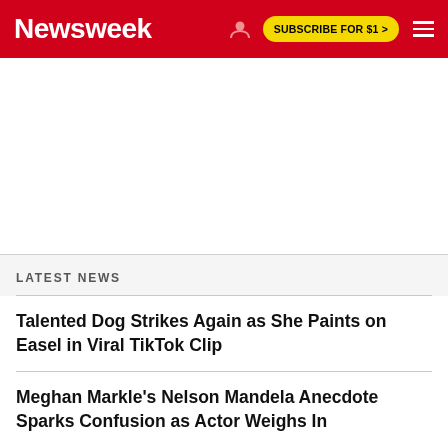Newsweek | SUBSCRIBE FOR $1 >
[Figure (other): Advertisement / blank white area below header]
LATEST NEWS
Talented Dog Strikes Again as She Paints on Easel in Viral TikTok Clip
Meghan Markle's Nelson Mandela Anecdote Sparks Confusion as Actor Weighs In